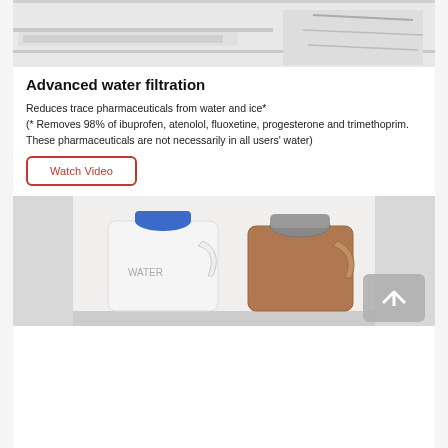[Figure (photo): Top portion of a refrigerator interior showing shelves and drawer in grayscale/white tones]
Advanced water filtration
Reduces trace pharmaceuticals from water and ice* (* Removes 98% of ibuprofen, atenolol, fluoxetine, progesterone and trimethoprim. These pharmaceuticals are not necessarily in all users' water)
Watch Video
[Figure (photo): Inside of a refrigerator door showing two large jugs — a white milk jug with a blue cap and a brown jug — stored in the door shelf]